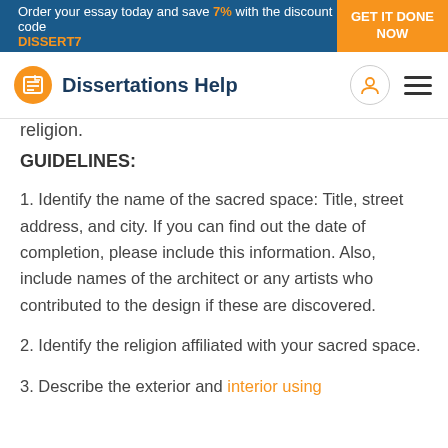Order your essay today and save 7% with the discount code DISSERT7 GET IT DONE NOW
[Figure (logo): Dissertations Help logo with orange circle icon and dark blue text]
religion.
GUIDELINES:
1. Identify the name of the sacred space: Title, street address, and city. If you can find out the date of completion, please include this information. Also, include names of the architect or any artists who contributed to the design if these are discovered.
2. Identify the religion affiliated with your sacred space.
3. Describe the exterior and interior using